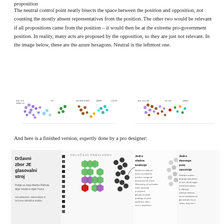proposition
The neutral control point neatly bisects the space between the position and opposition, not counting the mostly absent representatives from the position. The other two would be relevant if all propositions came from the position – it would then be at the extreme pro-government position. In reality, many acts are proposed by the opposition, so they are just not relevant. In the image below, these are the azure hexagons. Neutral is the leftmost one.
[Figure (infographic): Two scatter-plot style infographics side by side showing political party positions/voting patterns with colored dots and small labels.]
And here is a finished version, expertly done by a pro designer:
[Figure (infographic): A professional infographic titled 'Državni zbor JE glasovalni stroj' (The National Assembly IS a voting machine) showing political party groupings with colored hexagon clusters and text annotations in Slovenian.]